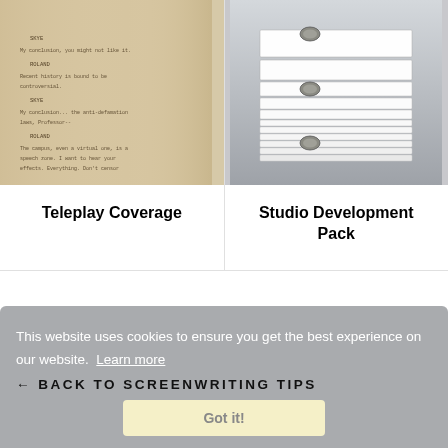[Figure (photo): Close-up photo of a screenplay script page with typed dialogue, sepia-toned]
[Figure (photo): Stack of papers or documents held with binder clips, gray background]
Teleplay Coverage
Studio Development Pack
This website uses cookies to ensure you get the best experience on our website. Learn more
← BACK TO SCREENWRITING TIPS
Got it!